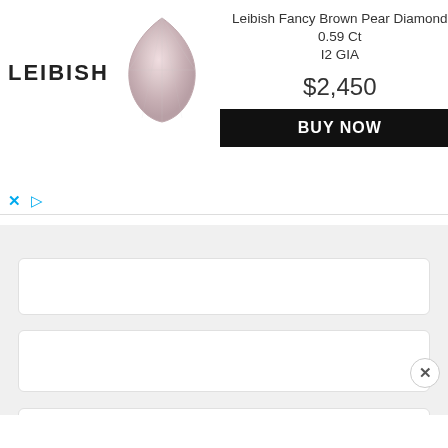[Figure (screenshot): Leibish advertisement banner with logo, pear diamond photo, product title, price $2,450, and BUY NOW button]
Leibish Fancy Brown Pear Diamond 0.59 Ct I2 GIA
$2,450
BUY NOW
[Figure (screenshot): Mobile browser interface showing collapsible tab with chevron and three white card placeholder boxes on grey background, close button and black bottom bar]